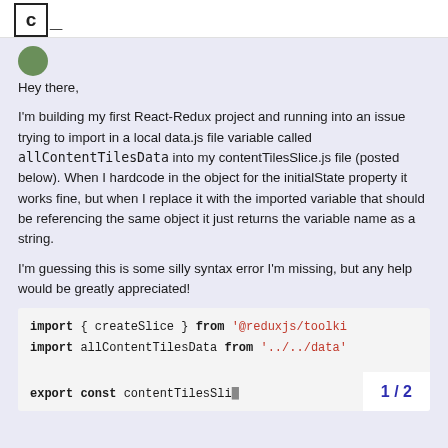c_
Hey there,

I'm building my first React-Redux project and running into an issue trying to import in a local data.js file variable called allContentTilesData into my contentTilesSlice.js file (posted below). When I hardcode in the object for the initialState property it works fine, but when I replace it with the imported variable that should be referencing the same object it just returns the variable name as a string.

I'm guessing this is some silly syntax error I'm missing, but any help would be greatly appreciated!
[Figure (screenshot): Code block showing import statements: 'import { createSlice } from @reduxjs/toolkit' and 'import allContentTilesData from ../../data', followed by 'export const contentTilesSlic...']
1 / 2